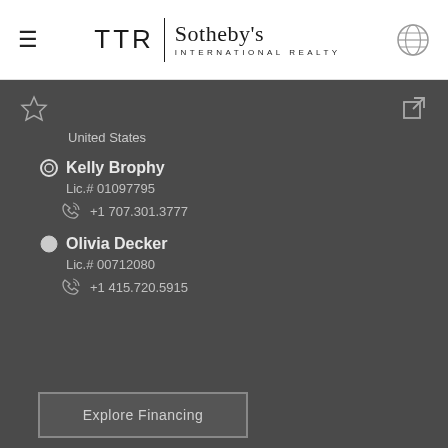[Figure (logo): TTR Sotheby's International Realty logo with hamburger menu icon on left and globe icon on right]
United States
Kelly Brophy
Lic.# 01097795
+1 707.301.3777
Olivia Decker
Lic.# 00712080
+1 415.720.5915
Explore Financing